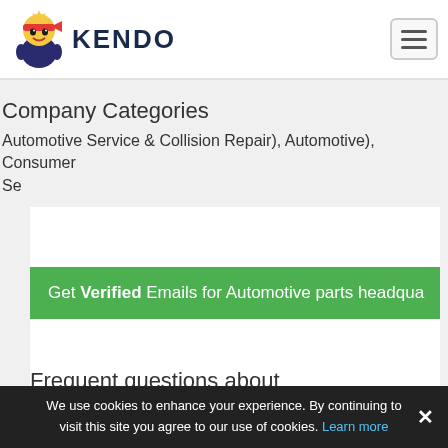KENDO
Company Categories
Automotive Service & Collision Repair), Automotive), Consumer Se
Get Verified Emails for Automotive parts headqua
Frequent questions about
We use cookies to enhance your experience. By continuing to visit this site you agree to our use of cookies. Learn more